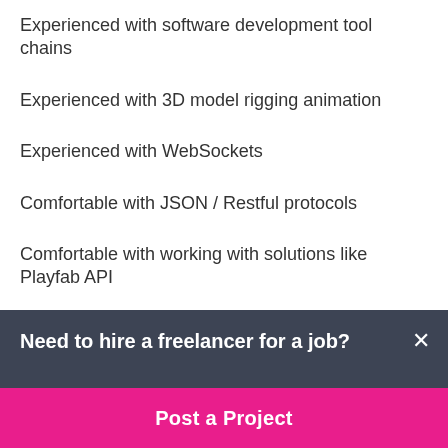Experienced with software development tool chains
Experienced with 3D model rigging animation
Experienced with WebSockets
Comfortable with JSON / Restful protocols
Comfortable with working with solutions like Playfab API
Good to know cryptocurrency apis
Need to hire a freelancer for a job?
Post a Project